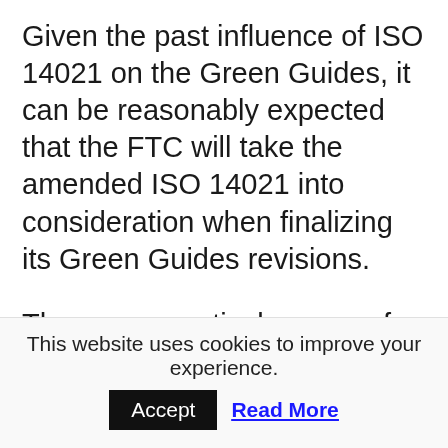Given the past influence of ISO 14021 on the Green Guides, it can be reasonably expected that the FTC will take the amended ISO 14021 into consideration when finalizing its Green Guides revisions.
There are practical reasons for basing FTC guidance on International Standards. Primary among them is the influence that ISO standards have in international trade. When regulations adopted in the United States parallel ISO standards, actions the FTC takes to protect consumers against misleading or deceptive
This website uses cookies to improve your experience.
Accept
Read More